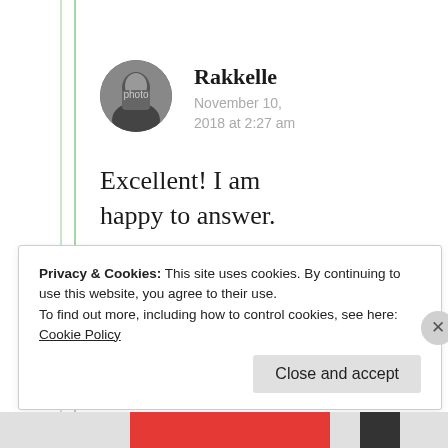Rakkelle
November 10, 2018 at 2:27 am
Excellent! I am happy to answer.
★ Liked by 2 people
Privacy & Cookies: This site uses cookies. By continuing to use this website, you agree to their use.
To find out more, including how to control cookies, see here: Cookie Policy
Close and accept